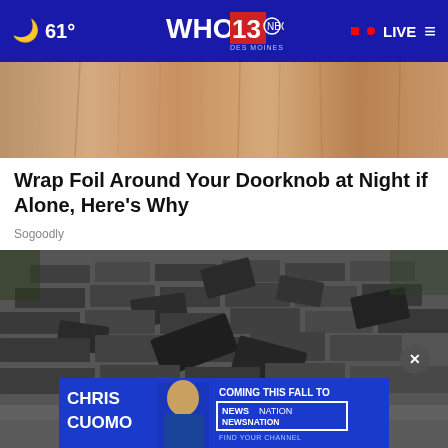🌙 61° | WHO 13 DES MOINES NBC | ● LIVE ≡
[Figure (photo): Close-up photo of a wooden door panel, warm brown wood grain texture]
Wrap Foil Around Your Doorknob at Night if Alone, Here's Why
Sogoodly
[Figure (photo): Black and white photo of damaged roof shingles that are peeling and curling up]
[Figure (photo): Advertisement banner: CHRIS CUOMO - COMING THIS FALL TO NEWSNATION - FIND YOUR CHANNEL]